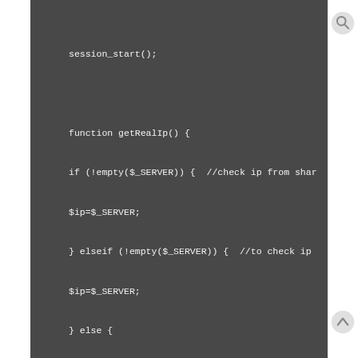session_start();

function getRealIp() {

if (!empty($_SERVER)) {  //check ip from shar

$ip=$_SERVER;

} elseif (!empty($_SERVER)) {  //to check ip

$ip=$_SERVER;

} else {

$ip=$_SERVER;

}